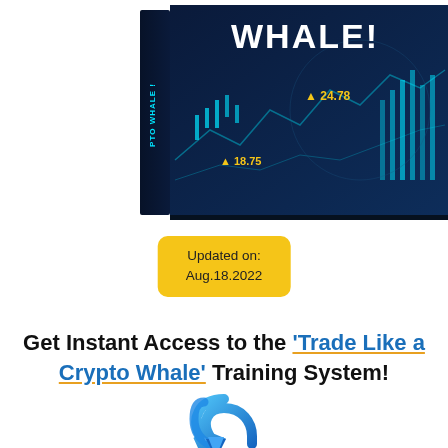[Figure (illustration): 3D book cover for 'Trade Like a Crypto Whale' course — dark navy blue background with candlestick/stock chart graphics, text 'WHALE!' visible on cover, yellow price annotations '▲ 24.78' and '▲ 18.75', spine shows 'PTO WHALE !']
Updated on:
Aug.18.2022
Get Instant Access to the 'Trade Like a Crypto Whale' Training System!
[Figure (illustration): Blue downward curved arrow icon pointing down]